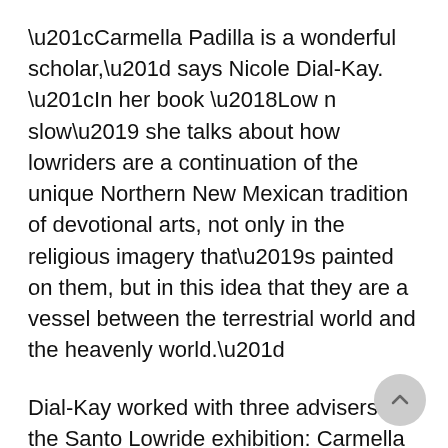“Carmella Padilla is a wonderful scholar,” says Nicole Dial-Kay. “In her book ‘Low n slow’ she talks about how lowriders are a continuation of the unique Northern New Mexican tradition of devotional arts, not only in the religious imagery that’s painted on them, but in this idea that they are a vessel between the terrestrial world and the heavenly world.”
Dial-Kay worked with three advisers for the Santo Lowride exhibition: Carmella Padilla, Rob Vanderslice and Toby Morfin, who provided an insider view of the lowriding community of Northern New Mexico. Vanderslice emphasizes